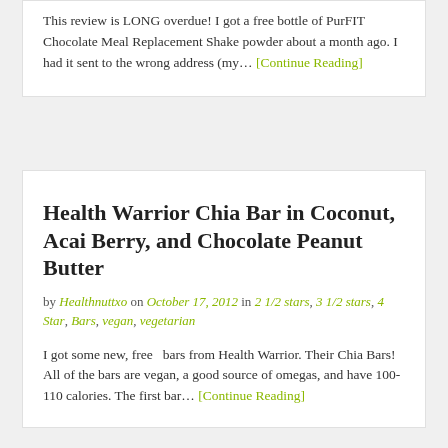This review is LONG overdue! I got a free bottle of PurFIT Chocolate Meal Replacement Shake powder about a month ago. I had it sent to the wrong address (my... [Continue Reading]
Health Warrior Chia Bar in Coconut, Acai Berry, and Chocolate Peanut Butter
by Healthnuttxo on October 17, 2012 in 2 1/2 stars, 3 1/2 stars, 4 Star, Bars, vegan, vegetarian
I got some new, free  bars from Health Warrior. Their Chia Bars! All of the bars are vegan, a good source of omegas, and have 100-110 calories. The first bar... [Continue Reading]